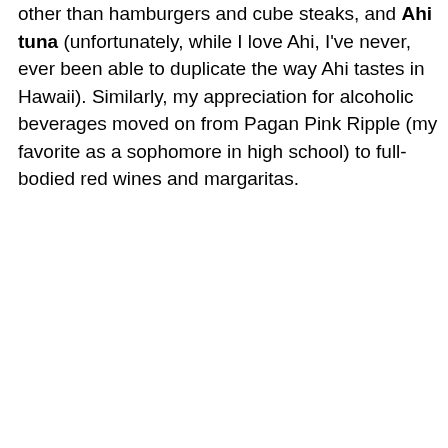other than hamburgers and cube steaks, and Ahi tuna (unfortunately, while I love Ahi, I've never, ever been able to duplicate the way Ahi tastes in Hawaii). Similarly, my appreciation for alcoholic beverages moved on from Pagan Pink Ripple (my favorite as a sophomore in high school) to full-bodied red wines and margaritas.